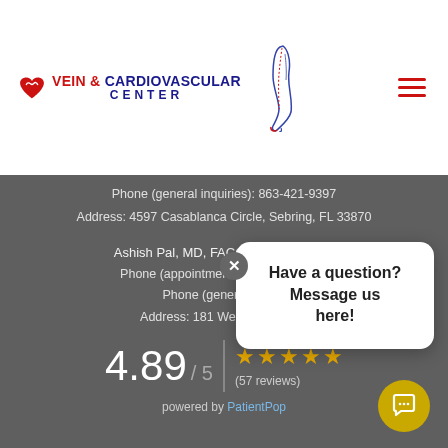Vein & Cardiovascular Center
Phone (general inquiries): 863-421-9397
Address: 4597 Casablanca Circle, Sebring, FL 33870
Ashish Pal, MD, FACC, Davenport, FL
Phone (appointments): 407-663-5440
Phone (general inquiries):
Address: 181 Webb Drive, S...
4.89 / 5
(57 reviews)
powered by PatientPop
Have a question? Message us here!